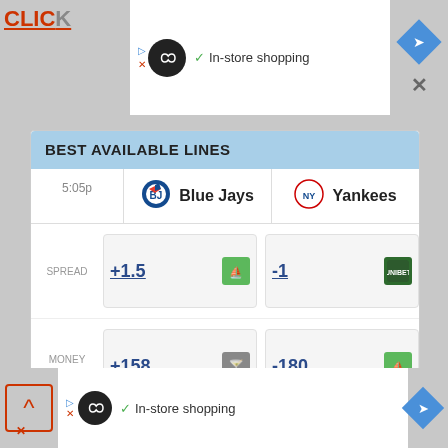[Figure (screenshot): Top advertisement bar with 'CLICK' text, infinity icon, 'In-store shopping' text, navigation arrow, and close button]
BEST AVAILABLE LINES
| Time | Team 1 | Team 2 |
| --- | --- | --- |
| 5:05p | Blue Jays | Yankees |
| SPREAD | +1.5 | -1 |
| MONEY LINE | +158 | -180 |
| TOTAL | 7.5o / 8u |  |
MetaBet
[Figure (screenshot): Bottom advertisement bar with back button, infinity icon, 'In-store shopping' text, and navigation arrow]